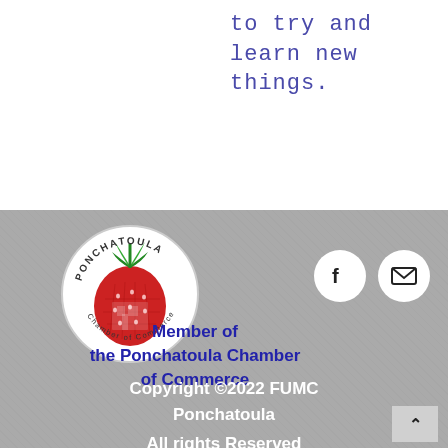to try and learn new things.
[Figure (logo): Ponchatoula Chamber of Commerce circular logo with a strawberry and building in the center]
Member of the Ponchatoula Chamber of Commerce
[Figure (logo): Facebook icon in a white circle]
[Figure (logo): Email/envelope icon in a white circle]
Copyright ©2022 FUMC Ponchatoula
All rights Reserved
Physical: 201 E. Pine St.,
Ponchatoula, LA 70454